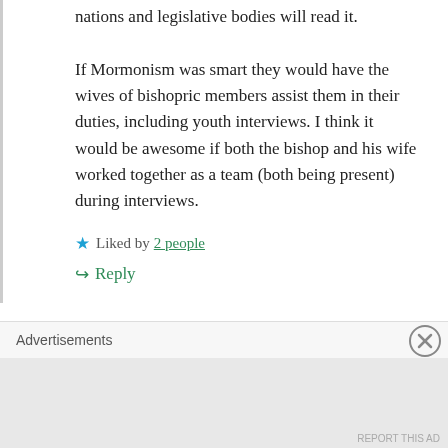nations and legislative bodies will read it.

If Mormonism was smart they would have the wives of bishopric members assist them in their duties, including youth interviews. I think it would be awesome if both the bishop and his wife worked together as a team (both being present) during interviews.
Liked by 2 people
Reply
Sam Young
November 27, 2018 at 12:28 am
Advertisements